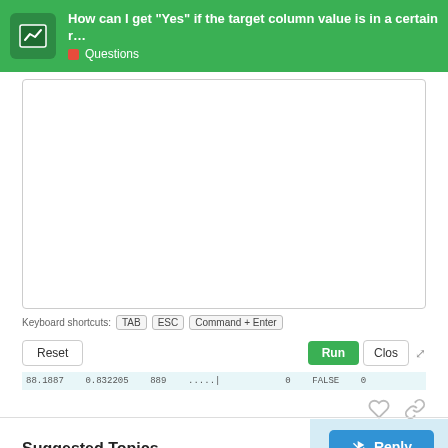How can I get "Yes" if the target column value is in a certain r… | Questions
[Figure (screenshot): Code editor area with keyboard shortcuts (TAB, ESC, Command+Enter), Reset button, Run button, Close button, and a data row strip showing partial data values including 0.832205, 389, FALSE]
1 / 1
Reply
Suggested Topics
ARIMA forecasting and Stationarity test
Questions
Jan 14
4
Map: Are there any other maps available
0